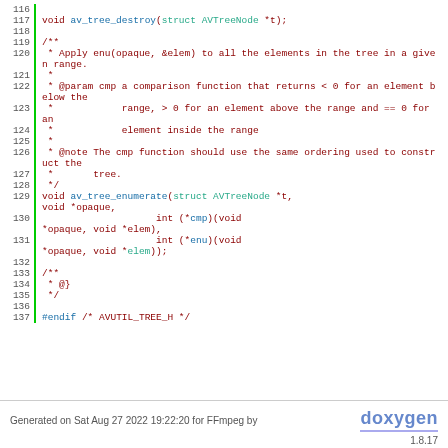[Figure (screenshot): Source code listing showing lines 116-137 of AVTree header file with syntax highlighting. Contains av_tree_destroy function declaration, documentation comment for av_tree_enumerate, and av_tree_enumerate function declaration, ending with #endif directive.]
Generated on Sat Aug 27 2022 19:22:20 for FFmpeg by doxygen 1.8.17